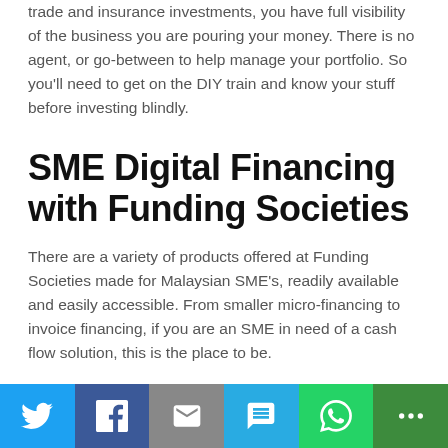trade and insurance investments, you have full visibility of the business you are pouring your money. There is no agent, or go-between to help manage your portfolio. So you'll need to get on the DIY train and know your stuff before investing blindly.
SME Digital Financing with Funding Societies
There are a variety of products offered at Funding Societies made for Malaysian SME's, readily available and easily accessible. From smaller micro-financing to invoice financing, if you are an SME in need of a cash flow solution, this is the place to be.
Three of the most popular financing products available are listed below in the illustration.
[Figure (infographic): Social media sharing bar with six buttons: Twitter (blue), Facebook (dark blue), Email (grey), SMS (light blue), WhatsApp (green), More (dark green)]